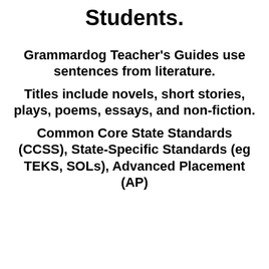Students.
Grammardog Teacher's Guides use sentences from literature. Titles include novels, short stories, plays, poems, essays, and non-fiction. Common Core State Standards (CCSS), State-Specific Standards (eg TEKS, SOLs), Advanced Placement (AP)